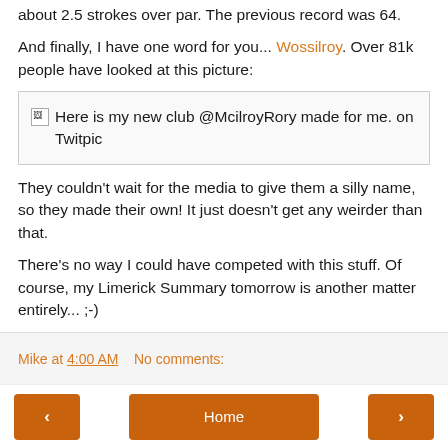about 2.5 strokes over par. The previous record was 64.
And finally, I have one word for you... Wossilroy. Over 81k people have looked at this picture:
[Figure (photo): Broken image placeholder with alt text: Here is my new club @McilroyRory made for me. on Twitpic]
They couldn't wait for the media to give them a silly name, so they made their own! It just doesn't get any weirder than that.
There's no way I could have competed with this stuff. Of course, my Limerick Summary tomorrow is another matter entirely... ;-)
Mike at 4:00 AM    No comments:
< Home >